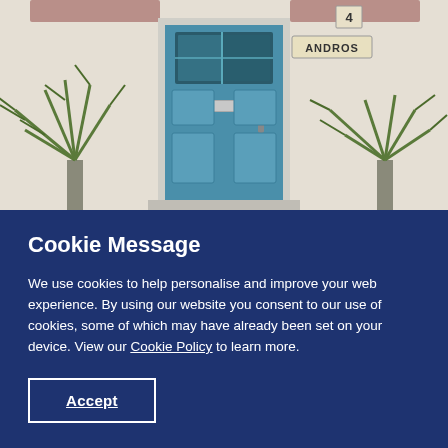[Figure (photo): Photograph of a house exterior showing a teal/blue composite front door with glazed panel at top, letterbox, four raised panels below, in a white rendered wall. A name plate reading 'ANDROS' and a number '4' are visible to the right. Palm-like plants flank both sides of the doorway.]
Cookie Message
We use cookies to help personalise and improve your web experience. By using our website you consent to our use of cookies, some of which may have already been set on your device. View our Cookie Policy to learn more.
Accept